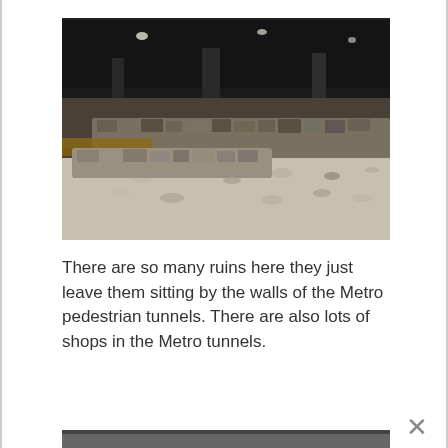[Figure (photo): Indoor photo of ancient stone ruins displayed inside a metro station, showing stone walls and gravel ground under a dark ceiling with lights, with wooden walkways along the side.]
There are so many ruins here they just leave them sitting by the walls of the Metro pedestrian tunnels. There are also lots of shops in the Metro tunnels.
[Figure (photo): Partially visible bottom photo, cropped at the bottom of the page, appears to show an interior scene.]